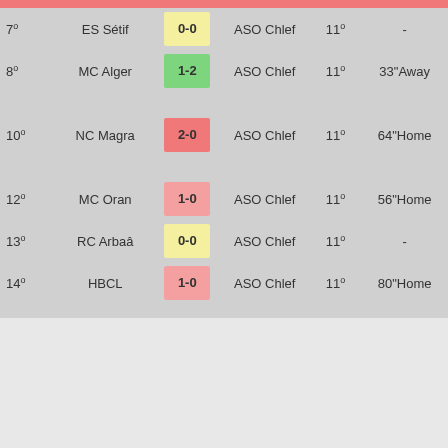| # | Team | Score | vs | Rank | Detail |
| --- | --- | --- | --- | --- | --- |
| 7º | ES Sétif | 0-0 | ASO Chlef | 11º | - |
| 8º | MC Alger | 1-2 | ASO Chlef | 11º | 33"Away |
| 10º | NC Magra | 2-0 | ASO Chlef | 11º | 64"Home |
| 12º | MC Oran | 1-0 | ASO Chlef | 11º | 56"Home |
| 13º | RC Arbaâ | 0-0 | ASO Chlef | 11º | - |
| 14º | HBCL | 1-0 | ASO Chlef | 11º | 80"Home |